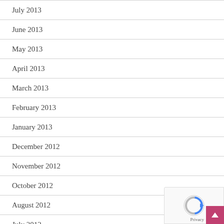July 2013
June 2013
May 2013
April 2013
March 2013
February 2013
January 2013
December 2012
November 2012
October 2012
August 2012
July 2012
June 2012